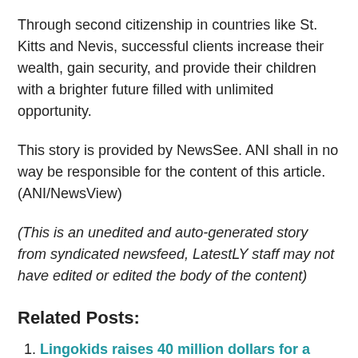Through second citizenship in countries like St. Kitts and Nevis, successful clients increase their wealth, gain security, and provide their children with a brighter future filled with unlimited opportunity.
This story is provided by NewsSee. ANI shall in no way be responsible for the content of this article. (ANI/NewsView)
(This is an unedited and auto-generated story from syndicated newsfeed, LatestLY staff may not have edited or edited the body of the content)
Related Posts:
Lingokids raises 40 million dollars for a “playlearning” educational games platform
Princess Leonor of Spain, 15, arrives for confirmation